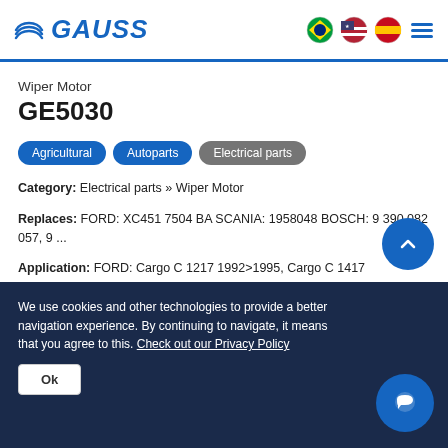GAUSS - Wiper Motor GE5030 product page header with language flags and menu icon
Wiper Motor
GE5030
Agricultural
Autoparts
Electrical parts
Category: Electrical parts » Wiper Motor
Replaces: FORD: XC451 7504 BA SCANIA: 1958048 BOSCH: 9 390 082 057, 9 ...
Application: FORD: Cargo C 1217 1992>1995, Cargo C 1417 1992>1995, ...
Compare »
We use cookies and other technologies to provide a better navigation experience. By continuing to navigate, it means that you agree to this. Check out our Privacy Policy
Ok